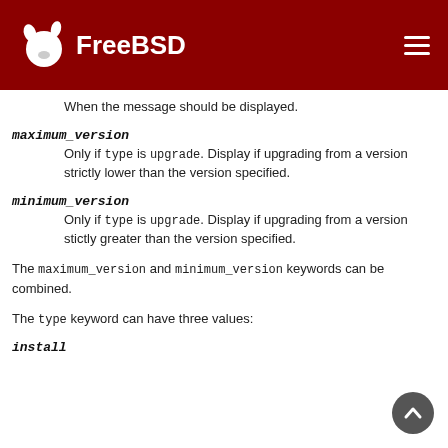FreeBSD
When the message should be displayed.
maximum_version
Only if type is upgrade. Display if upgrading from a version strictly lower than the version specified.
minimum_version
Only if type is upgrade. Display if upgrading from a version stictly greater than the version specified.
The maximum_version and minimum_version keywords can be combined.
The type keyword can have three values:
install